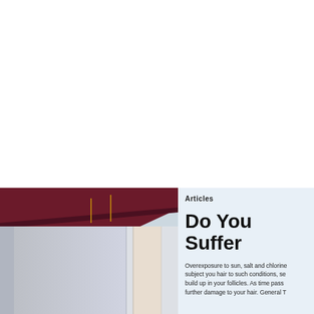[Figure (photo): Partial view of a building exterior with dark maroon/burgundy roof overhang, light blue sky, and architectural columns or walls in light grey/cream tones. The image occupies the lower-left portion of the page.]
Articles
Do You Suffer
Overexposure to sun, salt and chlorine subject you hair to such conditions, se build up in your follicles. As time pass further damage to your hair. General T